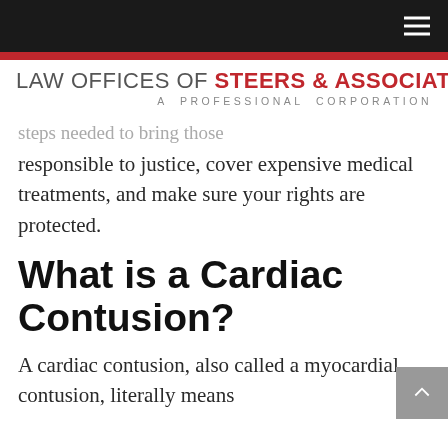LAW OFFICES OF STEERS & ASSOCIATES A PROFESSIONAL CORPORATION
steps needed to bring those responsible to justice, cover expensive medical treatments, and make sure your rights are protected.
What is a Cardiac Contusion?
A cardiac contusion, also called a myocardial contusion, literally means